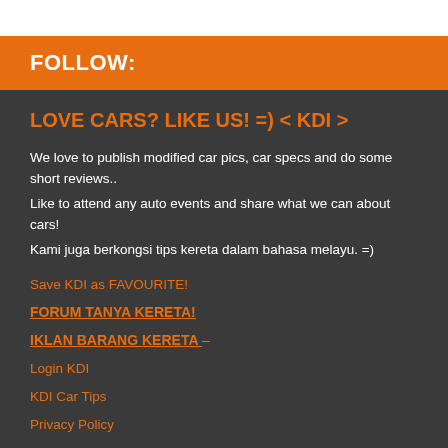FOLLOW:
LOVE CARS? LIKE US! =) < KDI >
We love to publish modified car pics, car specs and do some short reviews.. Like to attend any auto events and share what we can about cars! Kami juga berkongsi tips kereta dalam bahasa melayu. =)
Save KDI as FAVOURITE!
FORUM TANYA KERETA!
IKLAN BARANG KERETA –
Login KDI
KDI Car Tips
Privacy Policy